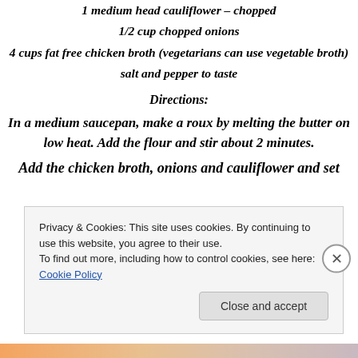1 medium head cauliflower – chopped
1/2 cup chopped onions
4 cups fat free chicken broth (vegetarians can use vegetable broth)
salt and pepper to taste
Directions:
In a medium saucepan, make a roux by melting the butter on low heat. Add the flour and stir about 2 minutes.
Add the chicken broth, onions and cauliflower and set
Privacy & Cookies: This site uses cookies. By continuing to use this website, you agree to their use.
To find out more, including how to control cookies, see here: Cookie Policy